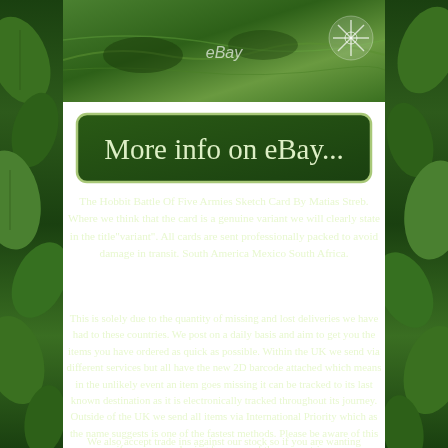[Figure (photo): Top portion of an eBay listing page for The Hobbit Battle of Five Armies Sketch Card, showing a green forest/map themed image with eBay watermark and a decorative logo in the top right corner]
[Figure (other): Banner button with rounded rectangle border reading 'More info on eBay...' in cursive script on dark green background]
The Hobbit Battle Of Five Armies Sketch Card By Matias Streb. Where we think that the card is a genuine variant we will clearly state in the title"variant". All cards are sent professionally packed to avoid damage in transit. South America Mexico South Africa.
This is solely due to the quantity of missing and lost deliveries we have had to these countries. We post on a daily basis and aim to get you the items you have ordered as quick as possible. Within the UK we send via different services but all have the new 2D barcode attached which means in the unlikely event an item goes missing it can be tracked to its last known destination as it is electronically tracked throughout its journey. Outside of the UK we send all items via International Priority which as the name suggests is one of the fastest methods. Please be aware of this if you are purchasing from one of these countries.
We also accept trade ins against our stock so if you are wanting